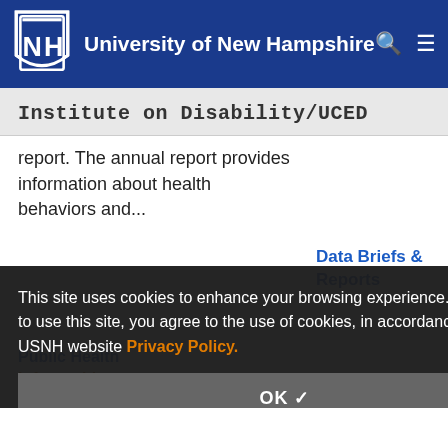University of New Hampshire
Institute on Disability/UCED
report. The annual report provides information about health behaviors and...
This site uses cookies to enhance your browsing experience. By continuing to use this site, you agree to the use of cookies, in accordance with the USNH website Privacy Policy.
Public Health
Infographic
The New Hampshire Disability &amp;
Data Briefs & Reports
OK ✓